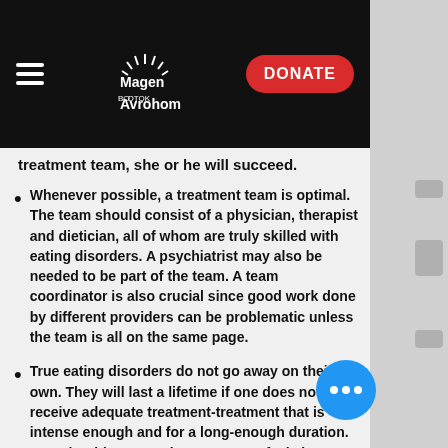[Figure (screenshot): Magen Avrohom website navigation bar with hamburger menu, logo, and red DONATE button on black background]
treatment team, she or he will succeed.
Whenever possible, a treatment team is optimal. The team should consist of a physician, therapist and dietician, all of whom are truly skilled with eating disorders. A psychiatrist may also be needed to be part of the team. A team coordinator is also crucial since good work done by different providers can be problematic unless the team is all on the same page.
True eating disorders do not go away on their own. They will last a lifetime if one does not receive adequate treatment-treatment that is intense enough and for a long-enough duration. One should not stop because one “feels better.” Ultimately, of course, one should feel better, but that is usually after dealing with some very difficult issues. It is really best that the experience of the treatment team dictate when treatment intensity or frequency should be increased or